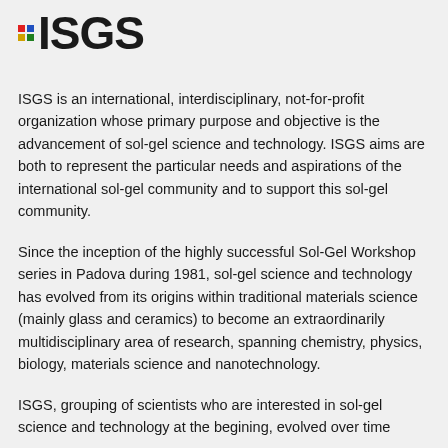[Figure (logo): ISGS logo with colored dot grid (red, blue, yellow, green) followed by bold text ISGS]
ISGS is an international, interdisciplinary, not-for-profit organization whose primary purpose and objective is the advancement of sol-gel science and technology. ISGS aims are both to represent the particular needs and aspirations of the international sol-gel community and to support this sol-gel community.
Since the inception of the highly successful Sol-Gel Workshop series in Padova during 1981, sol-gel science and technology has evolved from its origins within traditional materials science (mainly glass and ceramics) to become an extraordinarily multidisciplinary area of research, spanning chemistry, physics, biology, materials science and nanotechnology.
ISGS, grouping of scientists who are interested in sol-gel science and technology at the begining, evolved over time